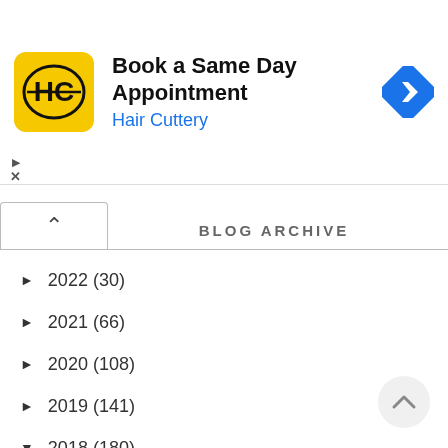[Figure (screenshot): Hair Cuttery advertisement banner: yellow square logo with HC initials, text 'Book a Same Day Appointment' and 'Hair Cuttery' in blue, blue diamond navigation icon on right]
BLOG ARCHIVE
► 2022 (30)
► 2021 (66)
► 2020 (108)
► 2019 (141)
▼ 2018 (180)
► December (16)
► November (16)
► October (18)
► September (15)
► August (9)
► July (15)